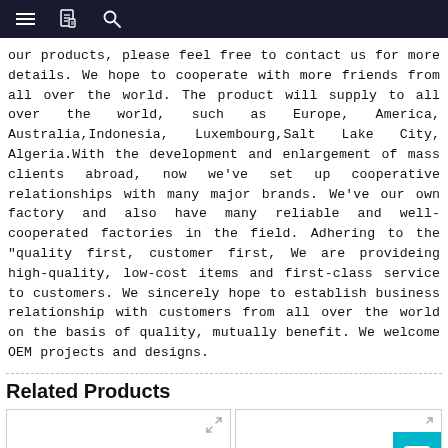Navigation bar with hamburger menu, document icon, and search icon
our products, please feel free to contact us for more details. We hope to cooperate with more friends from all over the world. The product will supply to all over the world, such as Europe, America, Australia,Indonesia, Luxembourg,Salt Lake City, Algeria.With the development and enlargement of mass clients abroad, now we've set up cooperative relationships with many major brands. We've our own factory and also have many reliable and well-cooperated factories in the field. Adhering to the "quality first, customer first, We are provideing high-quality, low-cost items and first-class service to customers. We sincerely hope to establish business relationship with customers from all over the world on the basis of quality, mutually benefit. We welcome OEM projects and designs.
Related Products
[Figure (photo): Two product card placeholders side by side, with expand icon on left card and mail contact button on right card]